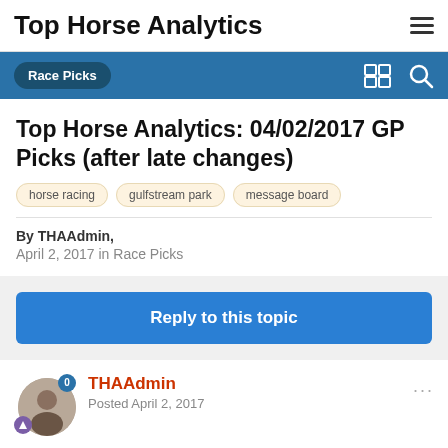Top Horse Analytics
Race Picks
Top Horse Analytics: 04/02/2017 GP Picks (after late changes)
horse racing
gulfstream park
message board
By THAAdmin,
April 2, 2017 in Race Picks
Reply to this topic
THAAdmin
Posted April 2, 2017